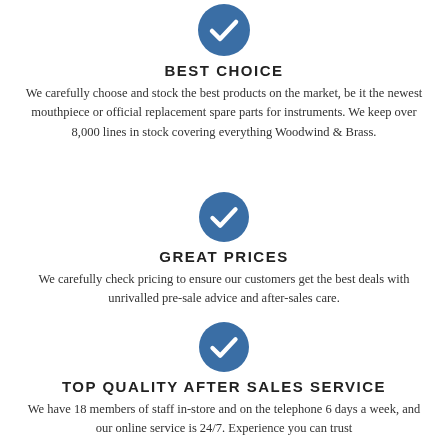[Figure (illustration): Blue circle with white checkmark icon]
BEST CHOICE
We carefully choose and stock the best products on the market, be it the newest mouthpiece or official replacement spare parts for instruments. We keep over 8,000 lines in stock covering everything Woodwind & Brass.
[Figure (illustration): Blue circle with white checkmark icon]
GREAT PRICES
We carefully check pricing to ensure our customers get the best deals with unrivalled pre-sale advice and after-sales care.
[Figure (illustration): Blue circle with white checkmark icon]
TOP QUALITY AFTER SALES SERVICE
We have 18 members of staff in-store and on the telephone 6 days a week, and our online service is 24/7. Experience you can trust